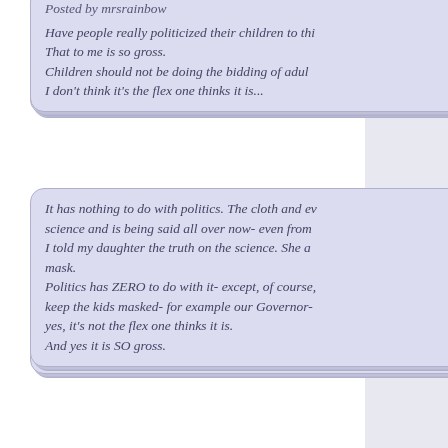Posted by mrsrainbow
Have people really politicized their children to thi... That to me is so gross. Children should not be doing the bidding of adul... I don't think it's the flex one thinks it is...
It has nothing to do with politics. The cloth and ev... science and is being said all over now- even from... I told my daughter the truth on the science. She a... mask. Politics has ZERO to do with it- except, of course,... keep the kids masked- for example our Governor-... yes, it's not the flex one thinks it is. And yes it is SO gross.
Wearing a mask doesn't decrease the distance dro... sneezing?
Of course it does. It's not even an argument that it d... masks are less effective, as they have said from beg... 2020, it was better than nothing. The masks that sho... KF94. Science supports that.